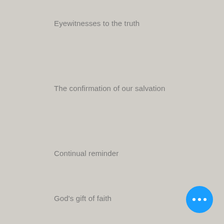Eyewitnesses to the truth
The confirmation of our salvation
Continual reminder
God's gift of faith